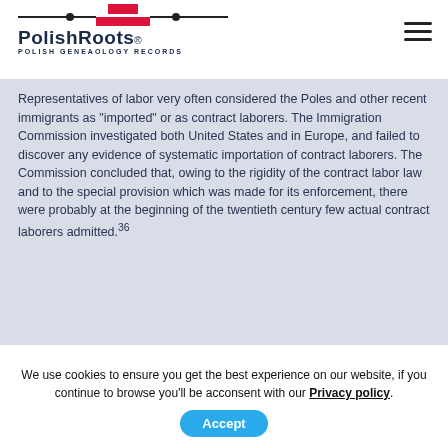PolishRoots® Polish Geneaology Records
Representatives of labor very often considered the Poles and other recent immigrants as "imported" or as contract laborers. The Immigration Commission investigated both United States and in Europe, and failed to discover any evidence of systematic importation of contract laborers. The Commission concluded that, owing to the rigidity of the contract labor law and to the special provision which was made for its enforcement, there were probably at the beginning of the twentieth century few actual contract laborers admitted.36
We use cookies to ensure you get the best experience on our website, if you continue to browse you'll be acconsent with our Privacy policy. Accept